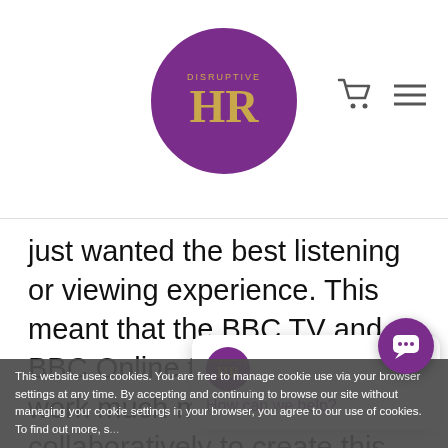[Figure (logo): Disruptive HR logo — purple circle with gold 'DISRUPTIVE' text above large gold 'HR' letters]
just wanted the best listening or viewing experience. This meant that the BBC TV and BBC Online teams had to work much more collaboratively to create this experience.
There were so many his... operational barriers to...
BBC TV had always bee... brother with its large budgets and influence, its netw... ly. BBC Online was kind of the younger le...
[Figure (screenshot): Chat popup with Disruptive HR logo, close button, and 'How can we help?' text]
This website uses cookies. You are free to manage cookie use via your browser settings at any time. By accepting and continuing to browse our site without managing your cookie settings in your browser, you agree to our use of cookies. To find out more, s...